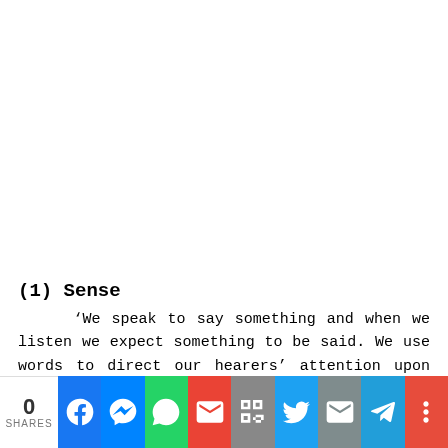(1) Sense
‘We speak to say something and when we listen we expect something to be said. We use words to direct our hearers’ attention upon some state of affairs, to present to them some items for consideration and to